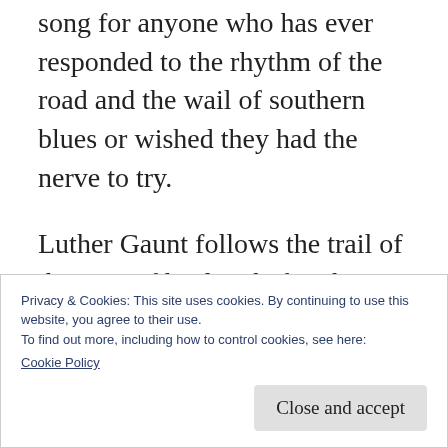song for anyone who has ever responded to the rhythm of the road and the wail of southern blues or wished they had the nerve to try.
Luther Gaunt follows the trail of the men of his line before him through the back roads and music joints of the South carrying Cassie, the guitar that seduced them all.  He's looking for his history and the song waiting for him around the next corner.  He finds it all and
Privacy & Cookies: This site uses cookies. By continuing to use this website, you agree to their use.
To find out more, including how to control cookies, see here:
Cookie Policy